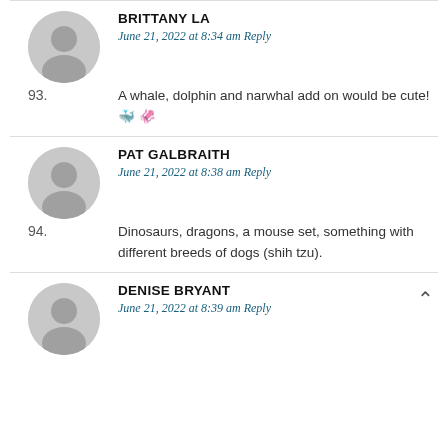93. BRITTANY LA — June 21, 2022 at 8:34 am Reply — A whale, dolphin and narwhal add on would be cute! 🐳 🦑
94. PAT GALBRAITH — June 21, 2022 at 8:38 am Reply — Dinosaurs, dragons, a mouse set, something with different breeds of dogs (shih tzu).
95. DENISE BRYANT — June 21, 2022 at 8:39 am Reply